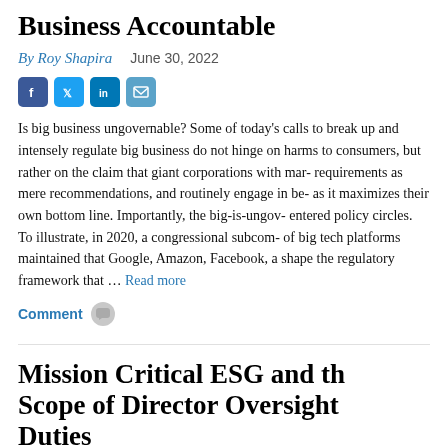Business Accountable
By Roy Shapira   June 30, 2022
[Figure (other): Social media share icons: Facebook, Twitter, LinkedIn, Email]
Is big business ungovernable? Some of today's calls to break up and intensely regulate big business do not hinge on harms to consumers, but rather on the claim that giant corporations with mar- requirements as mere recommendations, and routinely engage in be- as it maximizes their own bottom line. Importantly, the big-is-ungov- entered policy circles. To illustrate, in 2020, a congressional subcom- of big tech platforms maintained that Google, Amazon, Facebook, a- shape the regulatory framework that … Read more
Comment
Mission Critical ESG and th- Scope of Director Oversight Duties